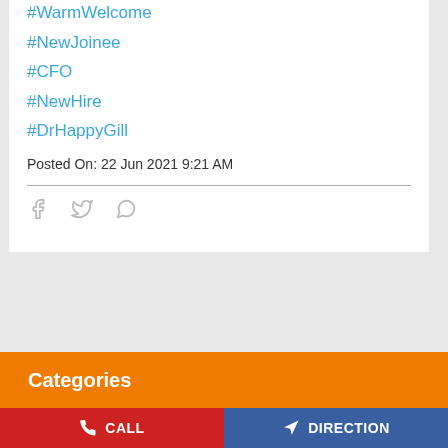#WarmWelcome
#NewJoinee
#CFO
#NewHire
#DrHappyGill
Posted On: 22 Jun 2021 9:21 AM
[Figure (other): Social share icons: Facebook, Twitter, WhatsApp]
Categories
CALL
DIRECTION